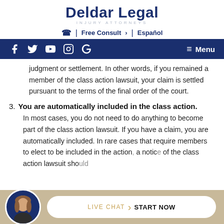Deldar Legal
INJURY ATTORNEYS
☎ | Free Consult > | Español
Facebook Twitter YouTube Instagram Google | Menu
judgment or settlement. In other words, if you remained a member of the class action lawsuit, your claim is settled pursuant to the terms of the final order of the court.
3. You are automatically included in the class action.

In most cases, you do not need to do anything to become part of the class action lawsuit. If you have a claim, you are automatically included. In rare cases that require members to elect to be included in the action, a notice of the class action lawsuit should
[Figure (photo): Live chat widget with avatar photo of a woman and a button reading LIVE CHAT > START NOW]